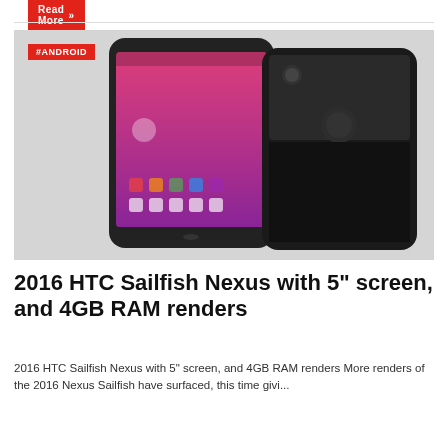[Figure (screenshot): Read More button with red background at the top of the page]
[Figure (photo): Two HTC Sailfish Nexus smartphone renders shown side by side — one showing the front with pink screen and Android UI, and one showing the back in dark color, against a light gray background. A red #ANDROID badge is in the upper left of the image.]
2016 HTC Sailfish Nexus with 5" screen, and 4GB RAM renders
2016 HTC Sailfish Nexus with 5" screen, and 4GB RAM renders More renders of the 2016 Nexus Sailfish have surfaced, this time givi...
[Figure (screenshot): Read More button with red background at the bottom of the page]